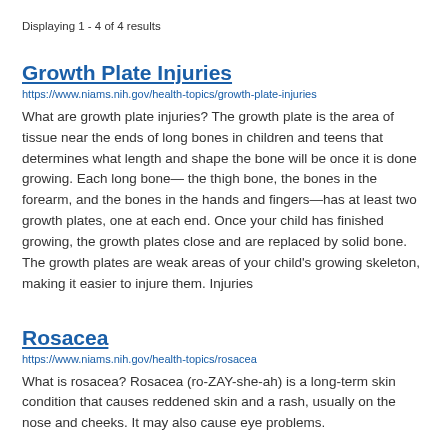Displaying 1 - 4 of 4 results
Growth Plate Injuries
https://www.niams.nih.gov/health-topics/growth-plate-injuries
What are growth plate injuries? The growth plate is the area of tissue near the ends of long bones in children and teens that determines what length and shape the bone will be once it is done growing. Each long bone— the thigh bone, the bones in the forearm, and the bones in the hands and fingers—has at least two growth plates, one at each end. Once your child has finished growing, the growth plates close and are replaced by solid bone. The growth plates are weak areas of your child's growing skeleton, making it easier to injure them. Injuries
Rosacea
https://www.niams.nih.gov/health-topics/rosacea
What is rosacea? Rosacea (ro-ZAY-she-ah) is a long-term skin condition that causes reddened skin and a rash, usually on the nose and cheeks. It may also cause eye problems.
Gout